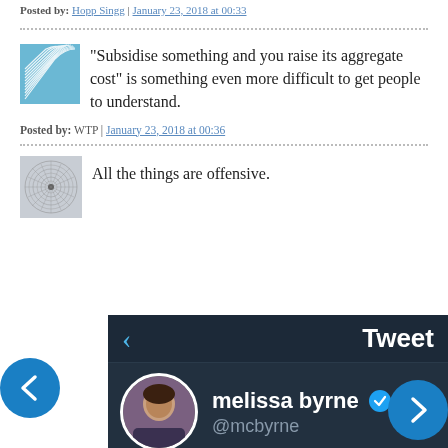Posted by: Hopp Singg | January 23, 2018 at 00:33
“Subsidise something and you raise its aggregate cost” is something even more difficult to get people to understand.
Posted by: WTP | January 23, 2018 at 00:36
All the things are offensive.
[Figure (screenshot): Screenshot of a Twitter profile card showing melissa byrne @mcbyrne with verified badge, dark navy background, back chevron arrow and 'Tweet' label at top, circular profile photo of a woman holding a microphone, and a blue forward navigation arrow.]